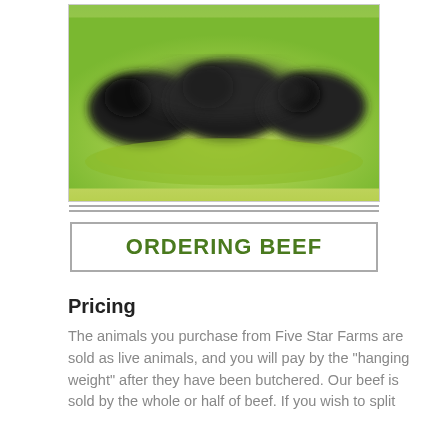[Figure (photo): Black cattle photographed against a bright green grass background]
ORDERING BEEF
Pricing
The animals you purchase from Five Star Farms are sold as live animals, and you will pay by the "hanging weight" after they have been butchered. Our beef is sold by the whole or half of beef. If you wish to split